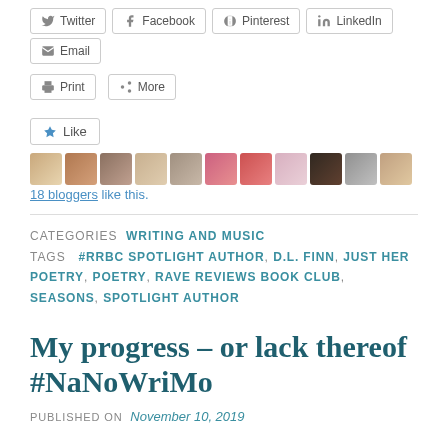[Figure (screenshot): Social sharing buttons row: Twitter, Facebook, Pinterest, LinkedIn, Email]
[Figure (screenshot): Secondary sharing buttons row: Print, More]
[Figure (screenshot): Like button with 18 blogger avatar images]
18 bloggers like this.
CATEGORIES  WRITING AND MUSIC
TAGS  #RRBC SPOTLIGHT AUTHOR, D.L. FINN, JUST HER POETRY, POETRY, RAVE REVIEWS BOOK CLUB, SEASONS, SPOTLIGHT AUTHOR
My progress – or lack thereof #NaNoWriMo
PUBLISHED ON  November 10, 2019